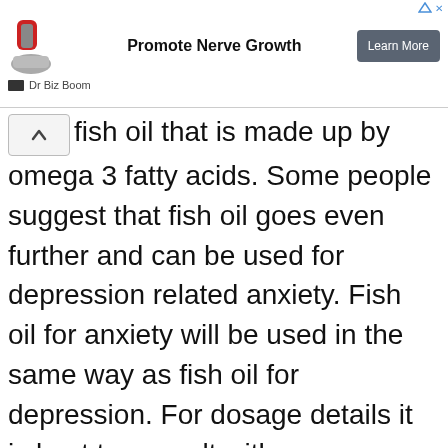[Figure (screenshot): Advertisement banner for 'Promote Nerve Growth' from Dr Biz Boom with a 'Learn More' button and an image of a foot/leg with red shoe]
fish oil that is made up by omega 3 fatty acids. Some people suggest that fish oil goes even further and can be used for depression related anxiety. Fish oil for anxiety will be used in the same way as fish oil for depression. For dosage details it is best to consult with...